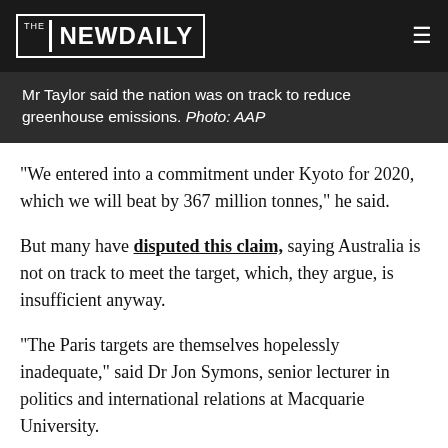THE NEW DAILY
Mr Taylor said the nation was on track to reduce greenhouse emissions. Photo: AAP
“We entered into a commitment under Kyoto for 2020, which we will beat by 367 million tonnes,” he said.
But many have disputed this claim, saying Australia is not on track to meet the target, which, they argue, is insufficient anyway.
“The Paris targets are themselves hopelessly inadequate,” said Dr Jon Symons, senior lecturer in politics and international relations at Macquarie University.
“Even if fully implemented, global emissions would actually be higher in 2030 than today.